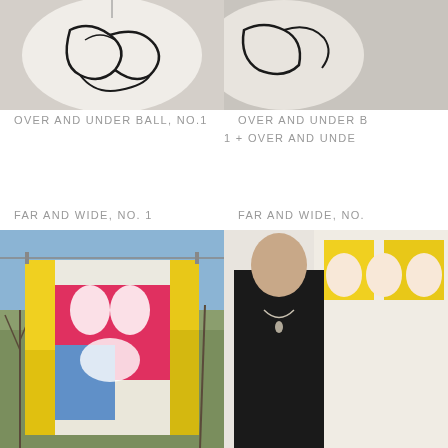[Figure (photo): Artwork - white sphere/ball with black line drawing on it, hanging, cropped at top]
OVER AND UNDER BALL, NO.1
[Figure (photo): Second artwork partially visible at right edge - similar ball or object, cropped]
OVER AND UNDER B... 1 + OVER AND UNDE...
FAR AND WIDE, NO. 1
FAR AND WIDE, NO.
[Figure (photo): Colorful textile/quilt artwork hanging outdoors with pink, blue, yellow sections and white figure shapes, trees and blue sky in background]
[Figure (photo): Person in black dress/coat standing in front of yellow and white artwork with breast/figure imagery]